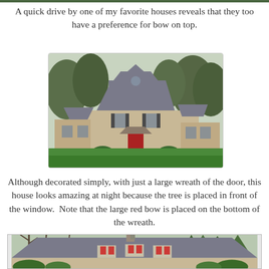A quick drive by one of my favorite houses reveals that they too have a preference for bow on top.
[Figure (photo): A two-story beige colonial-style house with multiple gabled roofs, dark shutters, a red front door, and a green lawn. Trees visible in background.]
Although decorated simply, with just a large wreath of the door, this house looks amazing at night because the tree is placed in front of the window.  Note that the large red bow is placed on the bottom of the wreath.
[Figure (photo): A lower ranch-style house with a gray roof featuring three small dormer windows with arched tops decorated with red bows. Bare trees visible behind the roofline and green shrubs in front.]